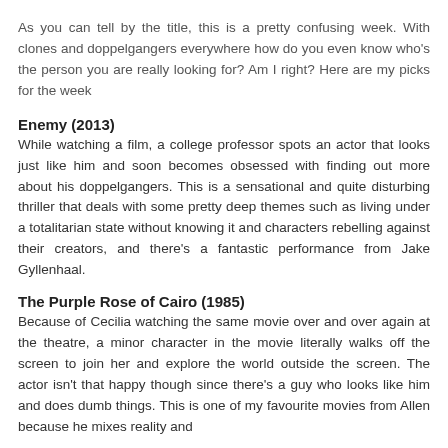As you can tell by the title, this is a pretty confusing week. With clones and doppelgangers everywhere how do you even know who's the person you are really looking for? Am I right? Here are my picks for the week
Enemy (2013)
While watching a film, a college professor spots an actor that looks just like him and soon becomes obsessed with finding out more about his doppelgangers. This is a sensational and quite disturbing thriller that deals with some pretty deep themes such as living under a totalitarian state without knowing it and characters rebelling against their creators, and there's a fantastic performance from Jake Gyllenhaal.
The Purple Rose of Cairo (1985)
Because of Cecilia watching the same movie over and over again at the theatre, a minor character in the movie literally walks off the screen to join her and explore the world outside the screen. The actor isn't that happy though since there's a guy who looks like him and does dumb things. This is one of my favourite movies from Allen because he mixes reality and